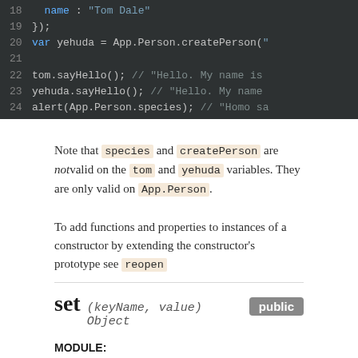[Figure (screenshot): Code block showing JavaScript lines 18-24 on dark background. Line 18: name : "Tom Dale", Line 19: });, Line 20: var yehuda = App.Person.createPerson(", Line 21: (blank), Line 22: tom.sayHello(); // "Hello. My name is, Line 23: yehuda.sayHello(); // "Hello. My name, Line 24: alert(App.Person.species); // "Homo sa]
Note that species and createPerson are not valid on the tom and yehuda variables. They are only valid on App.Person.
To add functions and properties to instances of a constructor by extending the constructor's prototype see reopen
set (keyName, value) Object public
MODULE: